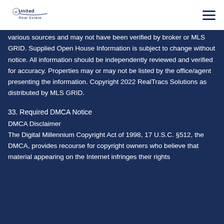United Real Estate
various sources and may not have been verified by broker or MLS GRID. Supplied Open House Information is subject to change without notice. All information should be independently reviewed and verified for accuracy. Properties may or may not be listed by the office/agent presenting the information. Copyright 2022 RealTracs Solutions as distributed by MLS GRID.
33. Required DMCA Notice
DMCA Disclaimer
The Digital Millennium Copyright Act of 1998, 17 U.S.C. §512, the DMCA, provides recourse for copyright owners who believe that material appearing on the Internet infringes their rights